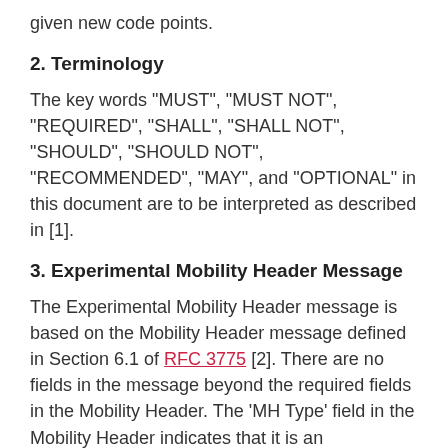given new code points.
2. Terminology
The key words "MUST", "MUST NOT", "REQUIRED", "SHALL", "SHALL NOT", "SHOULD", "SHOULD NOT", "RECOMMENDED", "MAY", and "OPTIONAL" in this document are to be interpreted as described in [1].
3. Experimental Mobility Header Message
The Experimental Mobility Header message is based on the Mobility Header message defined in Section 6.1 of RFC 3775 [2]. There are no fields in the message beyond the required fields in the Mobility Header. The 'MH Type' field in the Mobility Header indicates that it is an Experimental Mobility Header message.
If no data is present in the message, two bytes of padding are required. The 'Header Len' field in the Mobility Header is set to 0 since the first 8 octets are excluded while